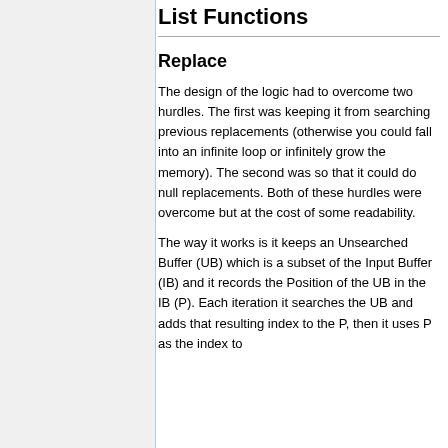List Functions
Replace
The design of the logic had to overcome two hurdles. The first was keeping it from searching previous replacements (otherwise you could fall into an infinite loop or infinitely grow the memory). The second was so that it could do null replacements. Both of these hurdles were overcome but at the cost of some readability.
The way it works is it keeps an Unsearched Buffer (UB) which is a subset of the Input Buffer (IB) and it records the Position of the UB in the IB (P). Each iteration it searches the UB and adds that resulting index to the P, then it uses P as the index to